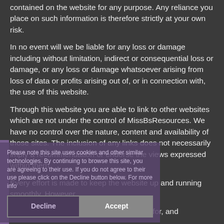contained on the website for any purpose. Any reliance you place on such information is therefore strictly at your own risk.
In no event will we be liable for any loss or damage including without limitation, indirect or consequential loss or damage, or any loss or damage whatsoever arising from loss of data or profits arising out of, or in connection with, the use of this website.
Through this website you are able to link to other websites which are not under the control of MissBsResources. We have no control over the nature, content and availability of those sites. The inclusion of any links does not necessarily imply a recommendation or endorse the views expressed within them.
Please note this site uses cookies and other similar technologies. By continuing to browse this site, you are agreeing to their use. If you do not agree to their use please click on the Decline button below. For more information...
Every effort is made to keep the website up and running smoothly. However,
MissBsResources takes no responsibility for, and